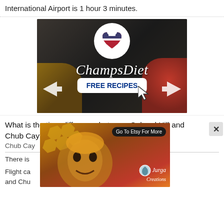International Airport is 1 hour 3 minutes.
[Figure (photo): ChampsDiet advertisement banner featuring food items (cheese, tomatoes, pasta, herbs) on dark background with a circular logo showing a heart with American flag pattern, script text 'ChampsDiet', and a white button labeled 'FREE RECIPES' with navigation arrows]
What is the time difference between Colonel Hill and Chub Cay?
There is [partially obscured] Cay.
Flight ca[partially obscured] t (CRI) and Chu[partially obscured] Airport [...]
[Figure (photo): Etsy advertisement banner showing colorful artistic painting of a face with honeycomb pattern, 'Jurga Creations' logo, and 'Go To Etsy For More' button]